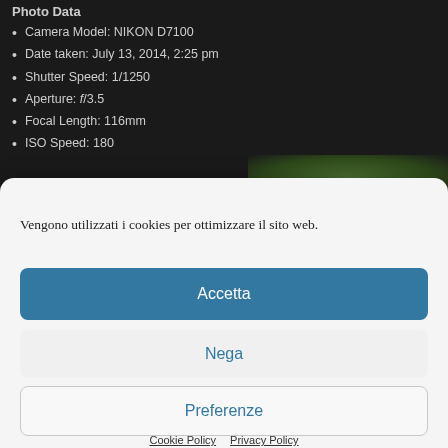Photo Data
Camera Model: NIKON D7100
Date taken: July 13, 2014, 2:25 pm
Shutter Speed: 1/1250
Aperture: f/3.5
Focal Length: 116mm
ISO Speed: 180
Vengono utilizzati i cookies per ottimizzare il sito web.
Accetta
Nega
Preferenze
Cookie Policy   Privacy Policy